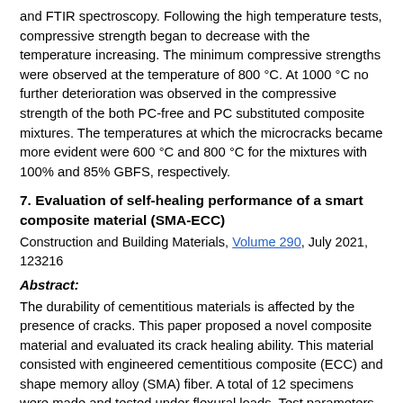and FTIR spectroscopy. Following the high temperature tests, compressive strength began to decrease with the temperature increasing. The minimum compressive strengths were observed at the temperature of 800 °C. At 1000 °C no further deterioration was observed in the compressive strength of the both PC-free and PC substituted composite mixtures. The temperatures at which the microcracks became more evident were 600 °C and 800 °C for the mixtures with 100% and 85% GBFS, respectively.
7. Evaluation of self-healing performance of a smart composite material (SMA-ECC)
Construction and Building Materials, Volume 290, July 2021, 123216
Abstract:
The durability of cementitious materials is affected by the presence of cracks. This paper proposed a novel composite material and evaluated its crack healing ability. This material consisted with engineered cementitious composite (ECC) and shape memory alloy (SMA) fiber. A total of 12 specimens were made and tested under flexural loads. Test parameters included material type and target displacement level. Test results indicated that specimens with SMA-ECC had great increase in strength and ductility compared with specimens with concrete. Specimens with SMA-ECC exhibited promising crack healing ability by